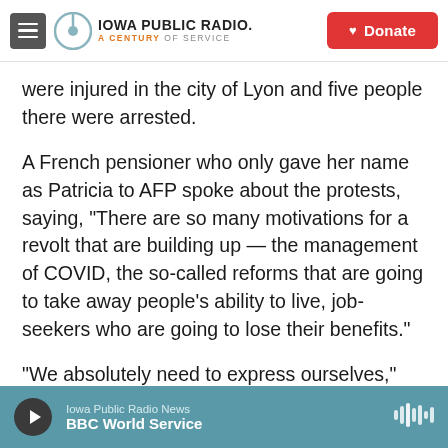Iowa Public Radio — A Century of Service | Donate
were injured in the city of Lyon and five people there were arrested.
A French pensioner who only gave her name as Patricia to AFP spoke about the protests, saying, "There are so many motivations for a revolt that are building up — the management of COVID, the so-called reforms that are going to take away people's ability to live, job-seekers who are going to lose their benefits."
"We absolutely need to express ourselves," she said.
Iowa Public Radio News | BBC World Service